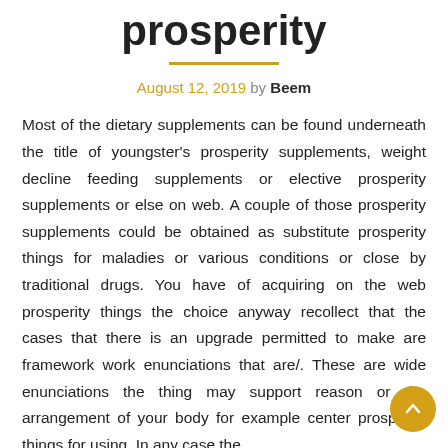prosperity
August 12, 2019 by Beem
Most of the dietary supplements can be found underneath the title of youngster's prosperity supplements, weight decline feeding supplements or elective prosperity supplements or else on web. A couple of those prosperity supplements could be obtained as substitute prosperity things for maladies or various conditions or close by traditional drugs. You have of acquiring on the web prosperity things the choice anyway recollect that the cases that there is an upgrade permitted to make are framework work enunciations that are/. These are wide enunciations the thing may support reason or the arrangement of your body for example center prosperity things for using. In any case the